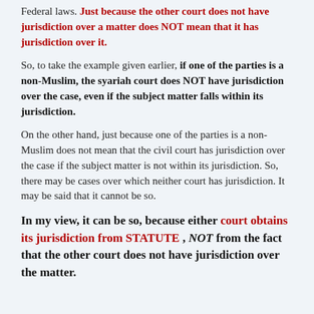Federal laws. Just because the other court does not have jurisdiction over a matter does NOT mean that it has jurisdiction over it.
So, to take the example given earlier, if one of the parties is a non-Muslim, the syariah court does NOT have jurisdiction over the case, even if the subject matter falls within its jurisdiction.
On the other hand, just because one of the parties is a non-Muslim does not mean that the civil court has jurisdiction over the case if the subject matter is not within its jurisdiction. So, there may be cases over which neither court has jurisdiction. It may be said that it cannot be so.
In my view, it can be so, because either court obtains its jurisdiction from STATUTE , NOT from the fact that the other court does not have jurisdiction over the matter.